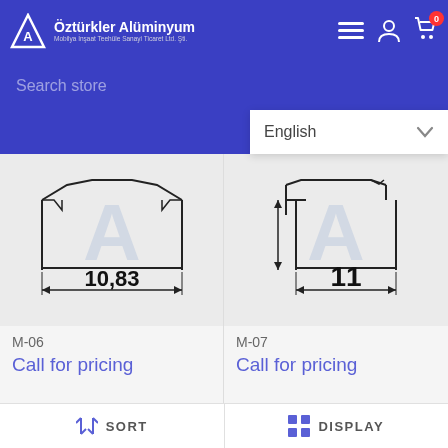Öztürkler Alüminyum — Mobilya İnşaat Teehüle Sanayi Ticaret Ltd. Şti.
Search store
English
[Figure (engineering-diagram): Technical drawing of aluminum profile M-06 showing cross-section with dimension 10,83]
M-06
Call for pricing
[Figure (engineering-diagram): Technical drawing of aluminum profile M-07 showing cross-section with dimension 11]
M-07
Call for pricing
[Figure (engineering-diagram): Partial technical drawing of aluminum profile showing dimension 0,45]
[Figure (engineering-diagram): Partial technical drawing of aluminum profile showing dimension 9]
SORT
DISPLAY